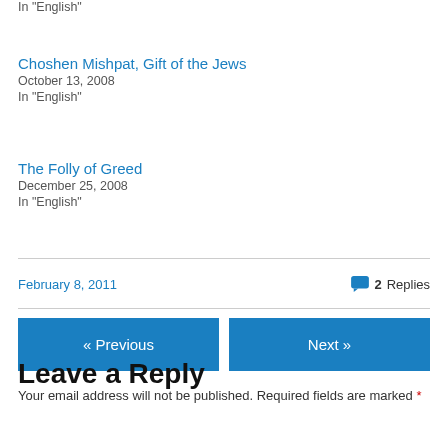In "English"
Choshen Mishpat, Gift of the Jews
October 13, 2008
In "English"
The Folly of Greed
December 25, 2008
In "English"
February 8, 2011   2 Replies
« Previous   Next »
Leave a Reply
Your email address will not be published. Required fields are marked *